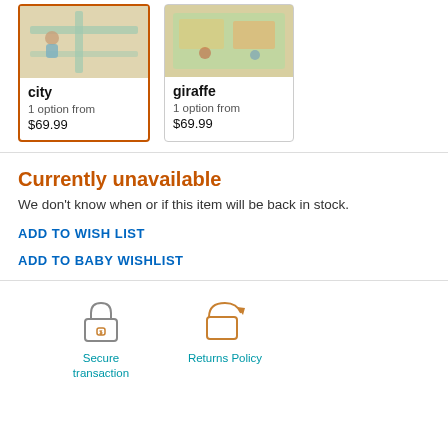[Figure (photo): Product card for 'city' play mat with orange border indicating selection; photo shows a green road map play mat from above with a child on it]
city
1 option from
$69.99
[Figure (photo): Product card for 'giraffe' play mat; photo shows a colorful play mat with giraffe and animal prints]
giraffe
1 option from
$69.99
Currently unavailable
We don't know when or if this item will be back in stock.
ADD TO WISH LIST
ADD TO BABY WISHLIST
[Figure (illustration): Lock icon with dollar sign representing secure transaction]
Secure transaction
[Figure (illustration): Returns/refresh icon representing returns policy]
Returns Policy